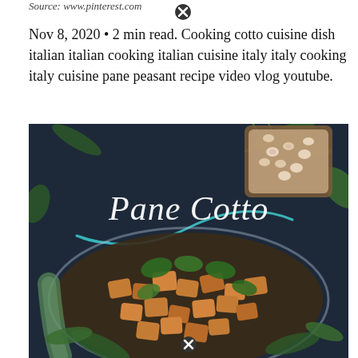Source: www.pinterest.com
Nov 8, 2020 • 2 min read. Cooking cotto cuisine dish italian italian cooking italian cuisine italy italy cooking italy cuisine pane peasant recipe video vlog youtube.
[Figure (photo): Food photograph showing a bowl of Pane Cotto (Italian bread soup) with croutons, beans and parsley, with text overlay reading 'Pane Cotto' in cursive script with a teal decorative swash. Dark background with herbs and a dish of beans visible.]